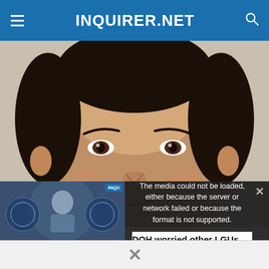INQUIRER.NET
[Figure (photo): Close-up portrait photo of a middle-aged Asian man, smiling slightly, wearing a white collared shirt, cropped at chin level.]
[Figure (screenshot): Video overlay showing: left side has a video thumbnail with caption 'DOH WORRIED OTHER LGUs MAY COPY CEBU CITY'S NON-MANDATORY FACE MASK RULE' and a blue INQU badge. Center shows error text: 'The media could not be loaded, either because the server or network failed or because the format is not supported.' Right side shows related article title 'DOH worried other LGUs may copy Cebu City's non-mandatory face ma...' with an X close button. Bottom bar shows an X dismiss button.]
The media could not be loaded, either because the server or network failed or because the format is not supported.
DOH worried other LGUs may copy Cebu City's non-mandatory face ma...